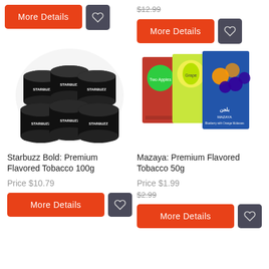[Figure (photo): More Details button (red) and heart/wishlist button (dark grey) in top-left area]
[Figure (photo): Strikethrough price $12.99, More Details button (red) and heart/wishlist button (dark grey) in top-right area]
[Figure (photo): Product photo: multiple Starbuzz Bold tobacco tins stacked together]
[Figure (photo): Product photo: three Mazaya flavored tobacco 50g boxes (red apple, green/yellow, blueberry orange)]
Starbuzz Bold: Premium Flavored Tobacco 100g
Price $10.79
More Details
Mazaya: Premium Flavored Tobacco 50g
Price $1.99
$2.99
More Details